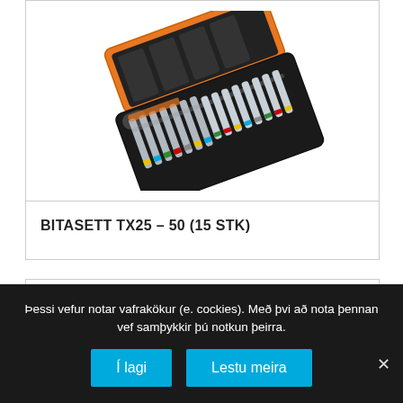[Figure (photo): A bit set product in an orange and black case, showing multiple chrome screwdriver bits with colored rings arranged in a plastic tray holder.]
BITASETT TX25 – 50 (15 STK)
Þessi vefur notar vafrakökur (e. cockies). Með þvi að nota þennan vef samþykkir þú notkun þeirra.
Í lagi
Lestu meira